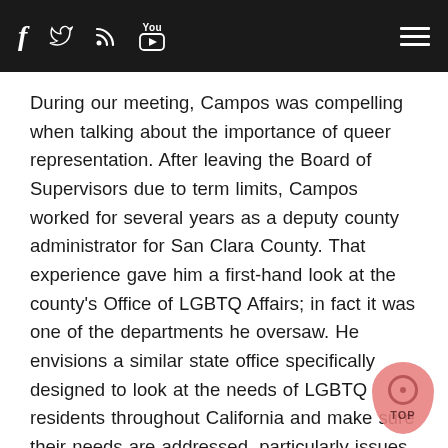Social media icons: Facebook, Twitter, RSS, YouTube | Hamburger menu
During our meeting, Campos was compelling when talking about the importance of queer representation. After leaving the Board of Supervisors due to term limits, Campos worked for several years as a deputy county administrator for San Clara County. That experience gave him a first-hand look at the county's Office of LGBTQ Affairs; in fact it was one of the departments he oversaw. He envisions a similar state office specifically designed to look at the needs of LGBTQ residents throughout California and make sure their needs are addressed, particularly issues like access to health care for transgender people. As supervisor, Campos pushed to make certain health services free for trans people, and the city hired a physician at Zuckerberg San Francisco General Hospital for that position. He enacted city